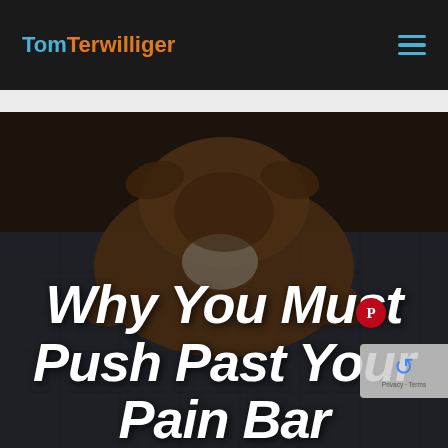TomTerwilliger
[Figure (photo): A dog lying down on a patterned surface, viewed from above, with a dark moody overlay. The dog appears to be a brown/tan colored dog with a white patch on its back, lying with its head down.]
Why You Must Push Past Your Pain Barriers